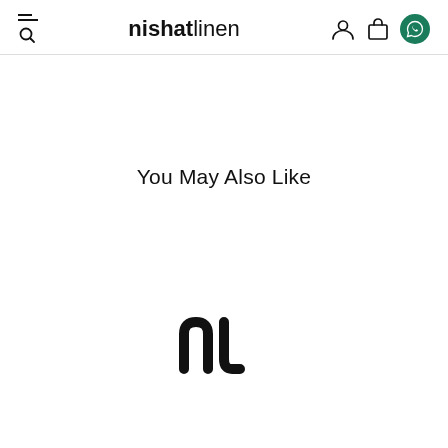nishat linen
You May Also Like
[Figure (logo): Nishat Linen 'nl' monogram logo in black]